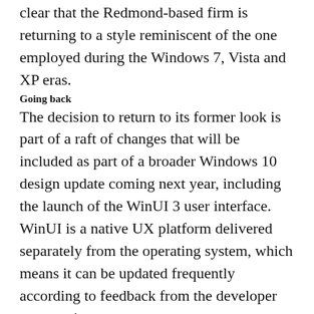clear that the Redmond-based firm is returning to a style reminiscent of the one employed during the Windows 7, Vista and XP eras.
Going back
The decision to return to its former look is part of a raft of changes that will be included as part of a broader Windows 10 design update coming next year, including the launch of the WinUI 3 user interface. WinUI is a native UX platform delivered separately from the operating system, which means it can be updated frequently according to feedback from the developer community.
Windows 10’s new user interface may be available in preview builds by Spring next year, with rounded corners likely to go live in the second half of 2021. It’s also thought that Microsoft might make a few tweaks to the Start Menu and Action Center, taking ideas from WinUI.
The other big design changes coming to Windows 10 affect app icons, which will be more colorful and curved. Given that top-level windows will also be more rounded, it seems like